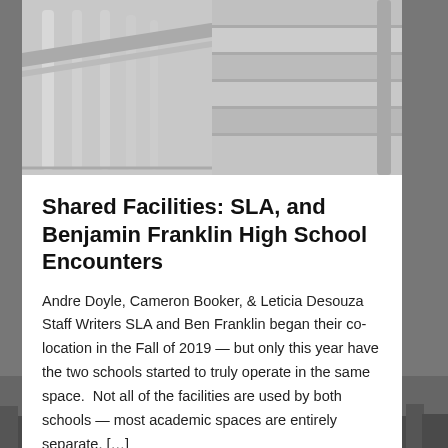[Figure (photo): Two-panel photo of school staircase: left panel shows a white metal railing close-up, right panel shows concrete stair steps from above.]
Shared Facilities: SLA, and Benjamin Franklin High School Encounters
Andre Doyle, Cameron Booker, & Leticia Desouza Staff Writers SLA and Ben Franklin began their co-location in the Fall of 2019 — but only this year have the two schools started to truly operate in the same space.  Not all of the facilities are used by both schools — most academic spaces are entirely separate. […]